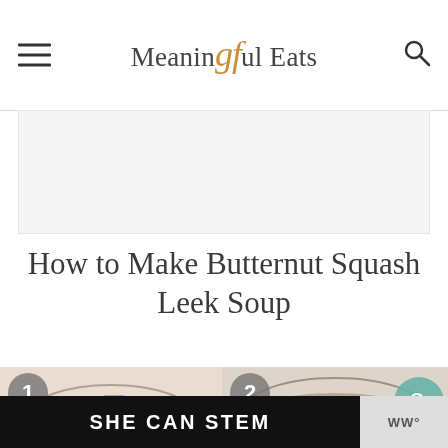Meaningful Eats
[Figure (screenshot): Advertisement placeholder block, light gray background]
How to Make Butternut Squash Leek Soup
[Figure (photo): Step-by-step cooking photos: Step 1 shows cubed butternut squash in a bowl, Step 2 shows cooked leeks in a bowl. Numbered circles overlay each photo. A teal search button overlays the right side.]
[Figure (screenshot): Dark banner ad at the bottom reading SHE CAN STEM with WW logo on the right]